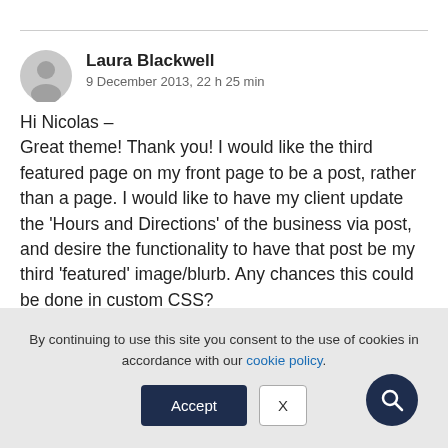Laura Blackwell
9 December 2013, 22 h 25 min
Hi Nicolas –
Great theme! Thank you! I would like the third featured page on my front page to be a post, rather than a page. I would like to have my client update the 'Hours and Directions' of the business via post, and desire the functionality to have that post be my third 'featured' image/blurb. Any chances this could be done in custom CSS?
By continuing to use this site you consent to the use of cookies in accordance with our cookie policy.